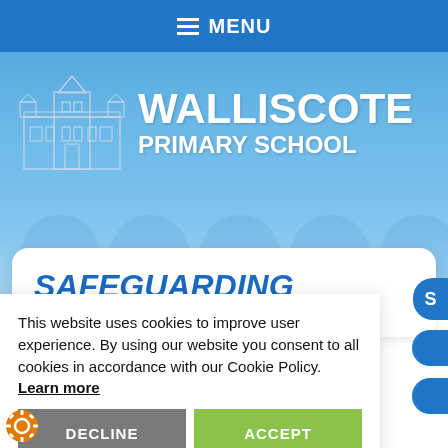MENU
[Figure (illustration): Walliscote Primary School logo with school building illustration and school name text on blue background]
SAFEGUARDING
This website uses cookies to improve user experience. By using our website you consent to all cookies in accordance with our Cookie Policy. Learn more
DECLINE
ACCEPT